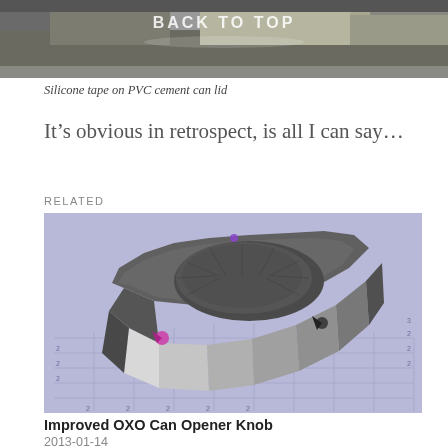[Figure (photo): Top portion of a photo showing silicone tape on PVC cement can lid, with 'BACK TO TOP' text overlaid on a grainy/rocky surface image]
Silicone tape on PVC cement can lid
It’s obvious in retrospect, is all I can say…
RELATED
[Figure (illustration): 3D CAD rendering of an Improved OXO Can Opener Knob — a dark grey polygonal disc-shaped knob on a light purple/lavender grid background, with magenta/pink dot markers on the model]
Improved OXO Can Opener Knob
2013-01-14
In "Home Ec"